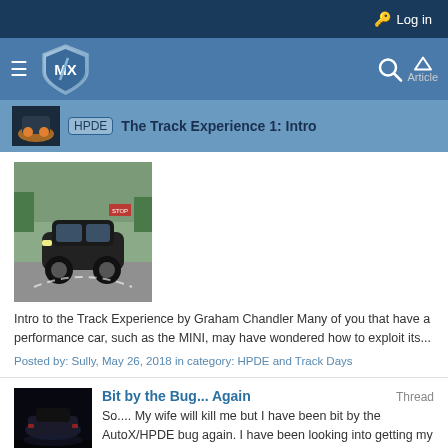Log in
[Figure (screenshot): Navigation bar with MX logo shield, hamburger menu, search icon, and Article label]
HPDE The Track Experience 1: Intro
[Figure (photo): Photo of a MINI car on a race track]
Intro to the Track Experience by Graham Chandler Many of you that have a performance car, such as the MINI, may have wondered how to exploit its...
Posted by: Sully, May 26, 2018 in category: HPDE and Track Days
Bit by the Bug... Again
So.... My wife will kill me but I have been bit by the AutoX/HPDE bug again. I have been looking into getting my F56 JCW rigged to run. So far I...
Thread by: Redbeard, Apr 20, 2018, 21 replies, in forum: Track Days & HPDE's